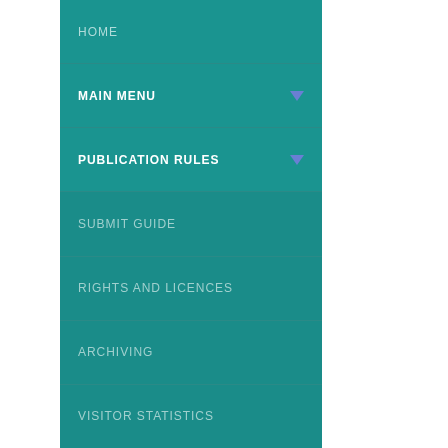HOME
MAIN MENU
PUBLICATION RULES
SUBMIT GUIDE
RIGHTS AND LICENCES
ARCHIVING
VISITOR STATISTICS